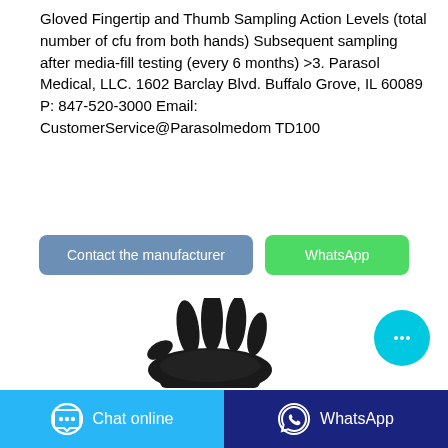Gloved Fingertip and Thumb Sampling Action Levels (total number of cfu from both hands) Subsequent sampling after media-fill testing (every 6 months) >3. Parasol Medical, LLC. 1602 Barclay Blvd. Buffalo Grove, IL 60089 P: 847-520-3000 Email: CustomerService@Parasolmedom TD100
[Figure (screenshot): Two buttons: 'Contact the manufacturer' (blue-grey) and 'WhatsApp' (green)]
[Figure (photo): Black nitrile examination glove shown palm-facing forward on white background]
[Figure (screenshot): Floating round cyan chat bubble button with ellipsis icon]
Chat online   WhatsApp